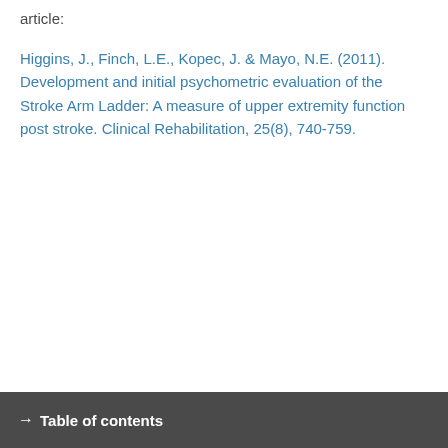article:
Higgins, J., Finch, L.E., Kopec, J. & Mayo, N.E. (2011). Development and initial psychometric evaluation of the Stroke Arm Ladder: A measure of upper extremity function post stroke. Clinical Rehabilitation, 25(8), 740-759.
→ Table of contents